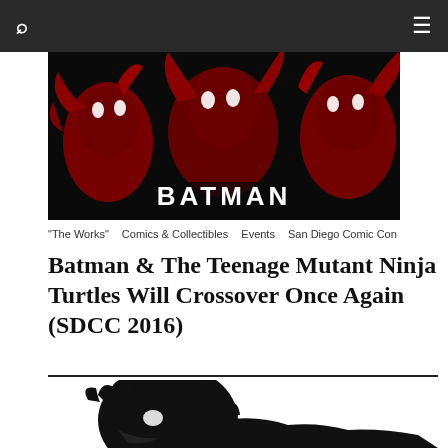[Figure (illustration): Batman/TMNT crossover comic art showing dark red silhouettes of Teenage Mutant Ninja Turtles with glowing eyes against a black background; the word 'BATMAN' in white bold text at the bottom]
"The Works"   Comics & Collectibles   Events   San Diego Comic Con
Batman & The Teenage Mutant Ninja Turtles Will Crossover Once Again (SDCC 2016)
[Figure (illustration): Black silhouette of a lion head in profile facing left against a white background, showing spiky mane and eye detail]